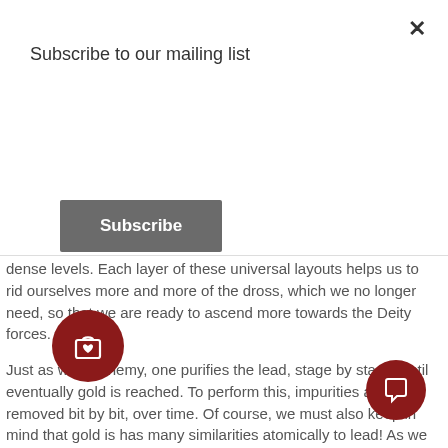Subscribe to our mailing list
Subscribe
dense levels.  Each layer of these universal layouts helps us to rid ourselves more and more of the dross, which we no longer need, so that we are ready to ascend more towards the Deity forces.
Just as with alchemy, one purifies the lead, stage by stage, until eventually gold is reached.  To perform this, impurities are removed bit by bit, over time.  Of course, we must also keep in mind that gold is has many similarities atomically to lead!  As we travel through these various layouts of the universe we are thus becoming less and less dense in an energetic sense, so that we are able to understand and tune into each of the levels.  This is an extremely good exercise to remove aspects of oneself which are hindering, as well as to purify the energy body.  As we travel through each layer, we also connect and unite with the energies which are similar.  This is an excellent way to get to know the various metaphysical realms of our magical universe.